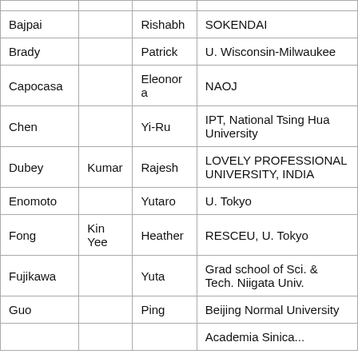| Bajpai |  | Rishabh | SOKENDAI |
| Brady |  | Patrick | U. Wisconsin-Milwaukee |
| Capocasa |  | Eleonora | NAOJ |
| Chen |  | Yi-Ru | IPT, National Tsing Hua University |
| Dubey | Kumar | Rajesh | LOVELY PROFESSIONAL UNIVERSITY, INDIA |
| Enomoto |  | Yutaro | U. Tokyo |
| Fong | Kin Yee | Heather | RESCEU, U. Tokyo |
| Fujikawa |  | Yuta | Grad school of Sci. & Tech. Niigata Univ. |
| Guo |  | Ping | Beijing Normal University |
|  |  |  | Academia Sinica... |